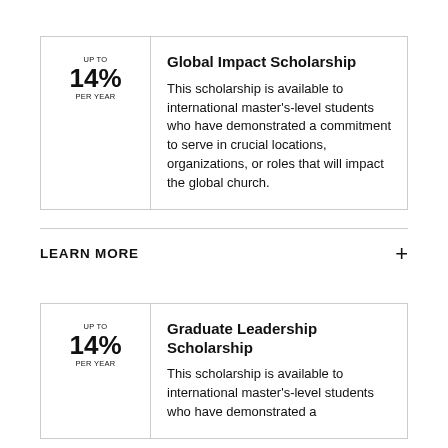| UP TO
14%
PER YEAR | Global Impact Scholarship
This scholarship is available to international master's-level students who have demonstrated a commitment to serve in crucial locations, organizations, or roles that will impact the global church. |
LEARN MORE
| UP TO
14%
PER YEAR | Graduate Leadership Scholarship
This scholarship is available to international master's-level students who have demonstrated a |